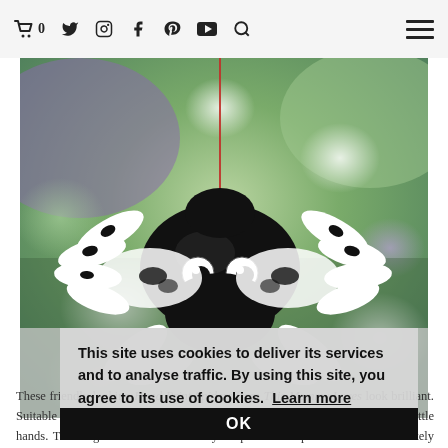🛒 0  Twitter  Instagram  Facebook  Pinterest  YouTube  Search  ☰
[Figure (photo): A handprint spider craft made from black and white painted handprints with googly eyes, hanging from a red thread against a blurred green and purple bokeh background.]
This site uses cookies to deliver its services and to analyse traffic. By using this site, you agree to its use of cookies. Learn more
OK
These friendly looking Hand Print Spiders from This Mommy Loves look brilliant. Suitable for all ages, you could even make some teeny tiny baby spiders with little hands. These again would make lovely keepsakes and presents – we'll definitely give these a go!